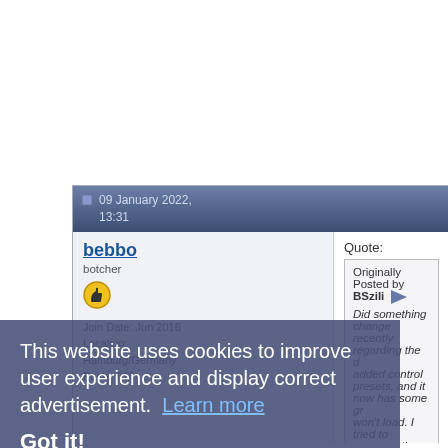09 January 2022, 13:31
bebbo
botcher
Join Date: Jun 2016
Location: Hamburg/Germany
Posts: 610
Quote:
Originally Posted by BSzili
Did something change recently regarding the added control presets, and it now has some gr won't load. I tried to compare the asm output w for certain multiplications. For example what c
Code:
fmove.l d1,fp0
fmul.l #936,fp0
fmod.s #0x4f800000,fp0
fmove.l fp0,d2
This could be a problem, because I change the routines, which probably messes with the ones
Edit: This is a small function that now has FPU
http://franke.ms/cex/z/T7rj6q
This website uses cookies to improve user experience and display correct advertisement.  Learn more
Got it!